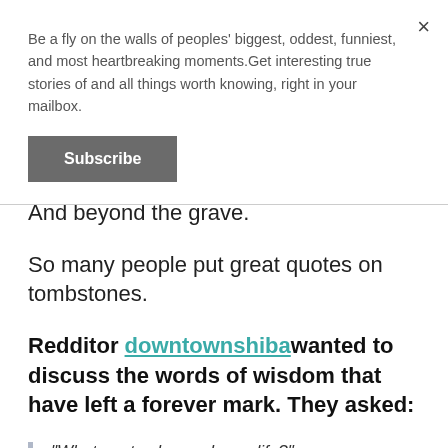Be a fly on the walls of peoples' biggest, oddest, funniest, and most heartbreaking moments.Get interesting true stories of and all things worth knowing, right in your mailbox.
Subscribe
And beyond the grave.
So many people put great quotes on tombstones.
Redditor downtownshiba wanted to discuss the words of wisdom that have left a forever mark. They asked:
"What quote changed your life?"